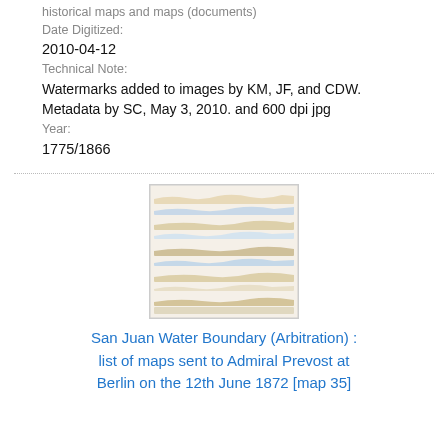historical maps and maps (documents)
Date Digitized:
2010-04-12
Technical Note:
Watermarks added to images by KM, JF, and CDW. Metadata by SC, May 3, 2010. and 600 dpi jpg
Year:
1775/1866
[Figure (photo): Thumbnail image of a historical map showing horizontal bands of terrain/coastline in muted beige and blue tones.]
San Juan Water Boundary (Arbitration) : list of maps sent to Admiral Prevost at Berlin on the 12th June 1872 [map 35]